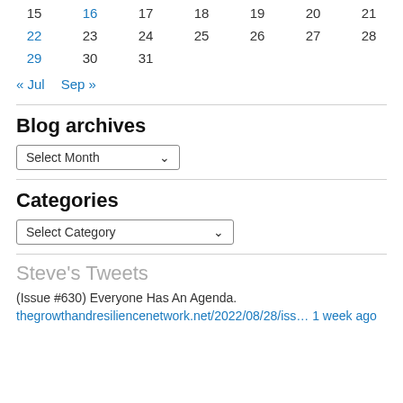| 15 | 16 | 17 | 18 | 19 | 20 | 21 |
| 22 | 23 | 24 | 25 | 26 | 27 | 28 |
| 29 | 30 | 31 |  |  |  |  |
« Jul   Sep »
Blog archives
Select Month
Categories
Select Category
Steve's Tweets
(Issue #630) Everyone Has An Agenda.
thegrowthandresiliencenetwork.net/2022/08/28/iss… 1 week ago